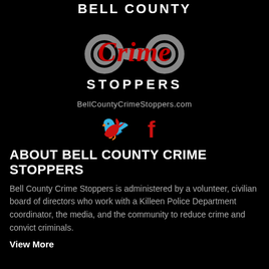[Figure (logo): Bell County Crime Stoppers logo with handcuffs and red stylized 'Crime' text over white 'BELL COUNTY' and 'STOPPERS' text on black background]
BellCountyCrimeStoppers.com
[Figure (illustration): Twitter bird icon and Facebook 'f' icon in red]
ABOUT BELL COUNTY CRIME STOPPERS
Bell County Crime Stoppers is administered by a volunteer, civilian board of directors who work with a Killeen Police Department coordinator, the media, and the community to reduce crime and convict criminals.
View More